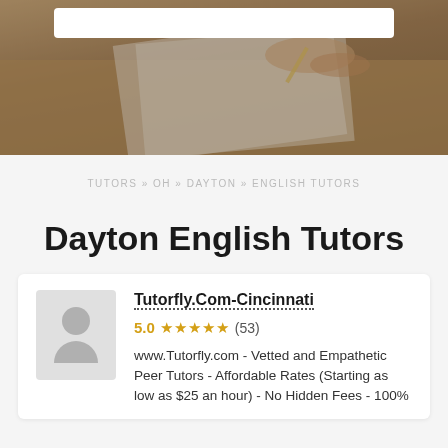[Figure (photo): Hero image of a person writing on paper at a desk, with a search box overlay at the top]
TUTORS » OH » DAYTON » ENGLISH TUTORS
Dayton English Tutors
Tutorfly.Com-Cincinnati
5.0 ★★★★★ (53)
www.Tutorfly.com - Vetted and Empathetic Peer Tutors - Affordable Rates (Starting as low as $25 an hour) - No Hidden Fees - 100%